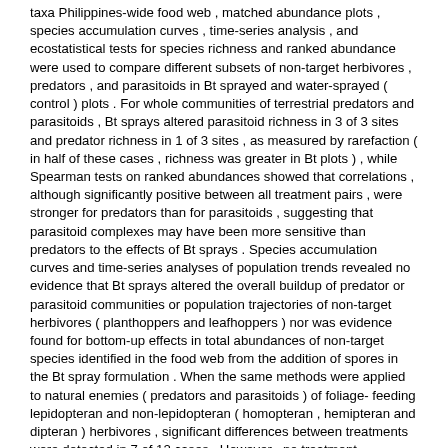taxa Philippines-wide food web , matched abundance plots , species accumulation curves , time-series analysis , and ecostatistical tests for species richness and ranked abundance were used to compare different subsets of non-target herbivores , predators , and parasitoids in Bt sprayed and water-sprayed ( control ) plots . For whole communities of terrestrial predators and parasitoids , Bt sprays altered parasitoid richness in 3 of 3 sites and predator richness in 1 of 3 sites , as measured by rarefaction ( in half of these cases , richness was greater in Bt plots ) , while Spearman tests on ranked abundances showed that correlations , although significantly positive between all treatment pairs , were stronger for predators than for parasitoids , suggesting that parasitoid complexes may have been more sensitive than predators to the effects of Bt sprays . Species accumulation curves and time-series analyses of population trends revealed no evidence that Bt sprays altered the overall buildup of predator or parasitoid communities or population trajectories of non-target herbivores ( planthoppers and leafhoppers ) nor was evidence found for bottom-up effects in total abundances of non-target species identified in the food web from the addition of spores in the Bt spray formulation . When the same methods were applied to natural enemies ( predators and parasitoids ) of foliage-feeding lepidopteran and non-lepidopteran ( homopteran , hemipteran and dipteran ) herbivores , significant differences between treatments were detected in 7 of 12 cases . However , no treatment differences were found in mean abundances of these natural enemies , either in time-series plots or in total ( seasonal ) abundance . Analysis of guild-level trajectories revealed population behavior and treatment differences that could not be predicted in whole-community studies of predators and parasitoids . A more conclusive test of the impact of Bt rice will require field experiments with transgenic plants , conducted in a range of Asian environments , and over multiple cropping seasons .